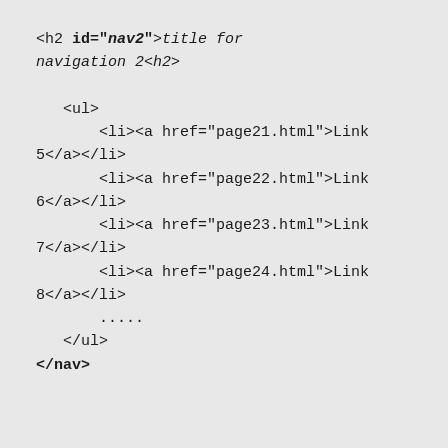<h2 id="nav2">title for navigation 2<h2>

    <ul>
        <li><a href="page21.html">Link 5</a></li>
        <li><a href="page22.html">Link 6</a></li>
        <li><a href="page23.html">Link 7</a></li>
        <li><a href="page24.html">Link 8</a></li>
        .....
    </ul>
</nav>